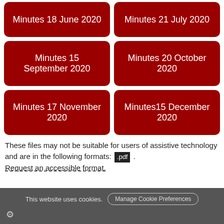Minutes 18 June 2020
Minutes 21 July 2020
Minutes 15 September 2020
Minutes 20 October 2020
Minutes 17 November 2020
Minutes15 December 2020
These files may not be suitable for users of assistive technology and are in the following formats: .pdf . Request an accessible format.
This website uses cookies. Manage Cookie Preferences